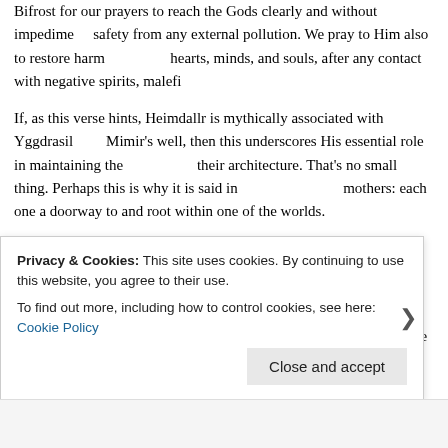Bifrost for our prayers to reach the Gods clearly and without impediment, safety from any external pollution. We pray to Him also to restore harmony to our hearts, minds, and souls, after any contact with negative spirits, malefic forces...
If, as this verse hints, Heimdallr is mythically associated with Yggdrasil and Mimir's well, then this underscores His essential role in maintaining the worlds and their architecture. That's no small thing. Perhaps this is why it is said in lore He has nine mothers: each one a doorway to and root within one of the worlds.
As always, if there's a particular stanza from the Eddas or other lore that you'd like me to look at, just shoot me an email.
Notes:
When you have a community that would take as a priest the atheist who... over the devotee with a deep, ongoing devotional relationship to one of...
Privacy & Cookies: This site uses cookies. By continuing to use this website, you agree to their use. To find out more, including how to control cookies, see here: Cookie Policy
Close and accept